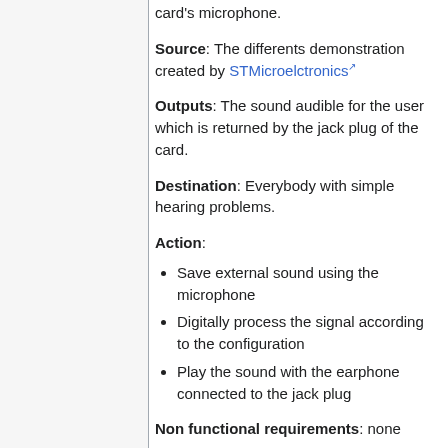card's microphone.
Source: The differents demonstration created by STMicroelctronics
Outputs: The sound audible for the user which is returned by the jack plug of the card.
Destination: Everybody with simple hearing problems.
Action:
Save external sound using the microphone
Digitally process the signal according to the configuration
Play the sound with the earphone connected to the jack plug
Non functional requirements: none
Pre-condition:
Have a computer